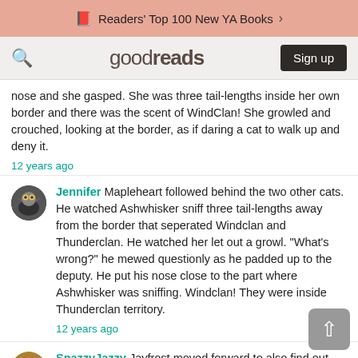Readers' Top 100 New YA Books >
[Figure (logo): Goodreads navigation bar with search icon, goodreads logo, and Sign up button]
nose and she gasped. She was three tail-lengths inside her own border and there was the scent of WindClan! She growled and crouched, looking at the border, as if daring a cat to walk up and deny it.
12 years ago
Jennifer Mapleheart followed behind the two other cats. He watched Ashwhisker sniff three tail-lengths away from the border that seperated Windclan and Thunderclan. He watched her let out a growl. "What's wrong?" he mewed questionly as he padded up to the deputy. He put his nose close to the part where Ashwhisker was sniffing. Windclan! They were inside Thunderclan territory.
12 years ago
SpazzyJazzy Jayfrost moved forward to also find out what was upsetting them so much, although the scent was